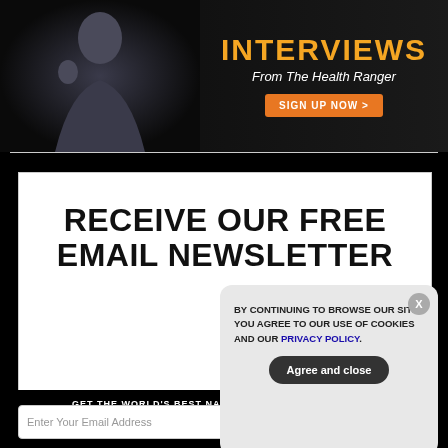[Figure (illustration): Banner ad showing a person on left and text 'INTERVIEWS From The Health Ranger' with orange 'SIGN UP NOW >' button on dark background]
RECEIVE OUR FREE EMAIL NEWSLETTER
GET THE WORLD'S BEST NATURAL HEALTH NEWSLETTER DELIVERED STRAIGHT TO YOUR INBOX
BY CONTINUING TO BROWSE OUR SITE YOU AGREE TO OUR USE OF COOKIES AND OUR PRIVACY POLICY.
Agree and close
Enter Your Email Address
SUBSCRIBE